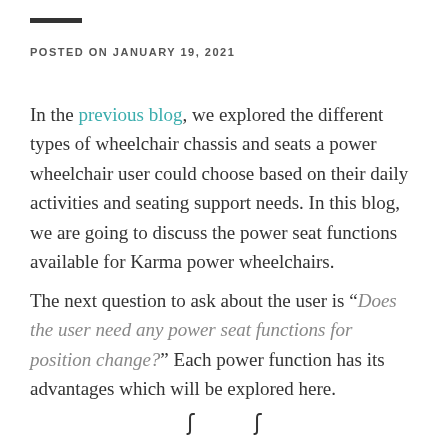POSTED ON JANUARY 19, 2021
In the previous blog, we explored the different types of wheelchair chassis and seats a power wheelchair user could choose based on their daily activities and seating support needs. In this blog, we are going to discuss the power seat functions available for Karma power wheelchairs.
The next question to ask about the user is “Does the user need any power seat functions for position change?” Each power function has its advantages which will be explored here.